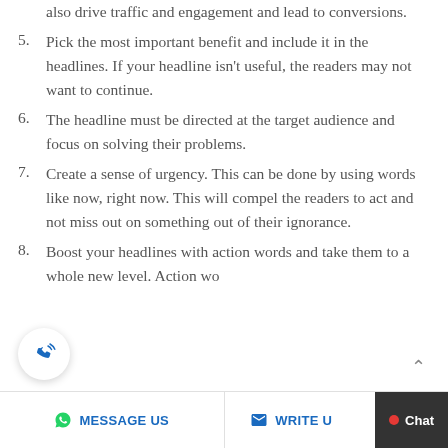also drive traffic and engagement and lead to conversions.
5. Pick the most important benefit and include it in the headlines. If your headline isn't useful, the readers may not want to continue.
6. The headline must be directed at the target audience and focus on solving their problems.
7. Create a sense of urgency. This can be done by using words like now, right now. This will compel the readers to act and not miss out on something out of their ignorance.
8. Boost your headlines with action words and take them to a whole new level. Action wo
MESSAGE US   WRITE U   Chat